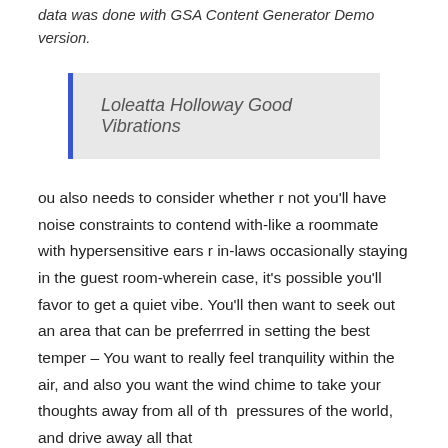data was done with GSA Content Generator Demo version.
Loleatta Holloway Good Vibrations
You also needs to consider whether or not you'll have noise constraints to contend with-like a roommate with hypersensitive ears or in-laws occasionally staying in the guest room-wherein case, it's possible you'll favor to get a quiet vibe. You'll then want to seek out an area that can be preferrred in setting the best temper – You want to really feel tranquility within the air, and also you want the wind chime to take your thoughts away from all of th pressures of the world, and drive away all that